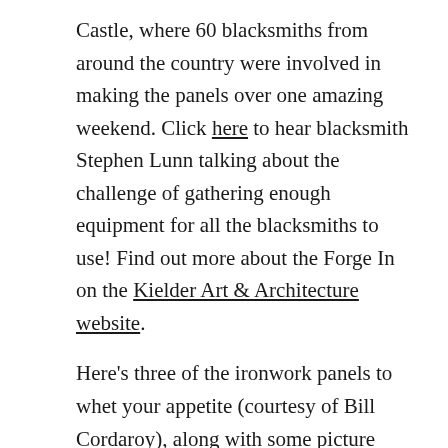Castle, where 60 blacksmiths from around the country were involved in making the panels over one amazing weekend. Click here to hear blacksmith Stephen Lunn talking about the challenge of gathering enough equipment for all the blacksmiths to use! Find out more about the Forge In on the Kielder Art & Architecture website.
Here's three of the ironwork panels to whet your appetite (courtesy of Bill Cordaroy), along with some picture from the Forge In event. What will you spot on the other five panels?
Photo gallery - click a photo to enlarge in slideshow